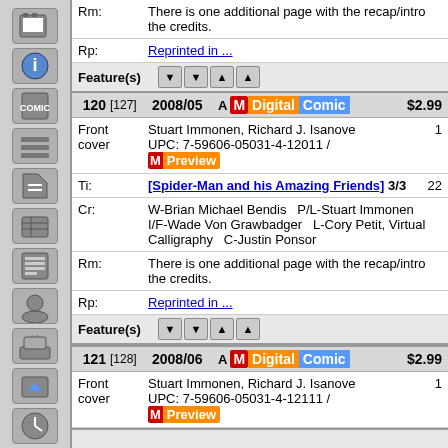Rm: There is one additional page with the recap/intro the credits.
Rp: Reprinted in ...
Feature(s)
120 [127] 2008/05 A M Digital Comic $2.99
Front cover Stuart Immonen, Richard J. Isanove UPC: 7-59606-05031-4-12011 / M Preview 1
Ti: [Spider-Man and his Amazing Friends] 3/3 22
Cr: W-Brian Michael Bendis  P/L-Stuart Immonen  I/F-Wade Von Grawbadger  L-Cory Petit, Virtual Calligraphy  C-Justin Ponsor
Rm: There is one additional page with the recap/intro the credits.
Rp: Reprinted in ...
Feature(s)
121 [128] 2008/06 A M Digital Comic $2.99
Front cover Stuart Immonen, Richard J. Isanove UPC: 7-59606-05031-4-12111 / M Preview 1